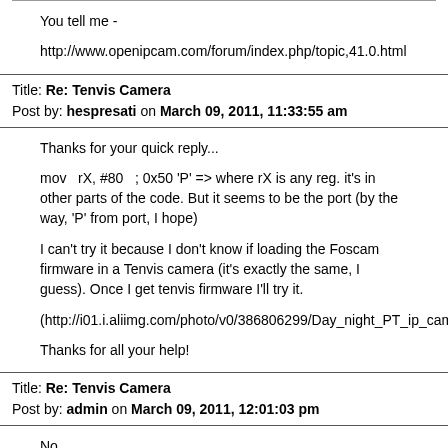You tell me -
http://www.openipcam.com/forum/index.php/topic,41.0.html
Title: Re: Tenvis Camera
Post by: hespresati on March 09, 2011, 11:33:55 am
Thanks for your quick reply...
mov   rX, #80   ; 0x50 'P' => where rX is any reg. it's in other parts of the code. But it seems to be the port (by the way, 'P' from port, I hope)
I can't try it because I don't know if loading the Foscam firmware in a Tenvis camera (it's exactly the same, I guess). Once I get tenvis firmware I'll try it.
(http://i01.i.aliimg.com/photo/v0/386806299/Day_night_PT_ip_camera.jp
Thanks for all your help!
Title: Re: Tenvis Camera
Post by: admin on March 09, 2011, 12:01:03 pm
No.